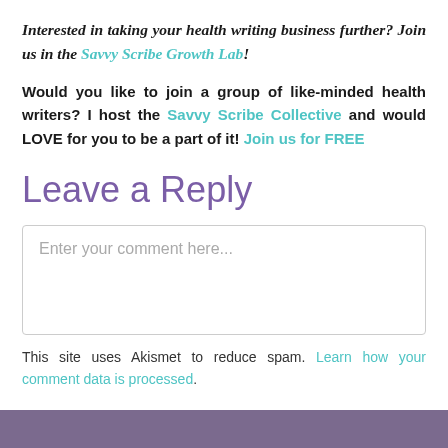Interested in taking your health writing business further? Join us in the Savvy Scribe Growth Lab!
Would you like to join a group of like-minded health writers? I host the Savvy Scribe Collective and would LOVE for you to be a part of it! Join us for FREE
Leave a Reply
Enter your comment here...
This site uses Akismet to reduce spam. Learn how your comment data is processed.